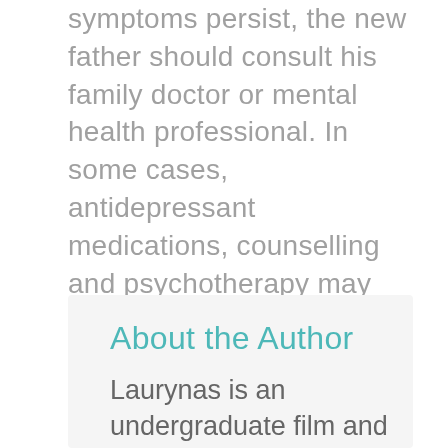symptoms persist, the new father should consult his family doctor or mental health professional. In some cases, antidepressant medications, counselling and psychotherapy may be necessary. To some, these measures may seem far-fetched, but they are a very small price to pay for bringing joy and understanding into new-family life.
About the Author
Laurynas is an undergraduate film and political science co-op student from Simon Fraser